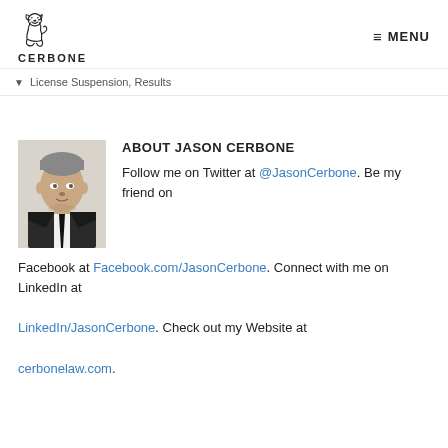CERBONE  ≡ MENU
▼  License Suspension, Results
[Figure (photo): Headshot photo of Jason Cerbone, a man in a suit and tie]
ABOUT JASON CERBONE
Follow me on Twitter at @JasonCerbone. Be my friend on Facebook at Facebook.com/JasonCerbone. Connect with me on LinkedIn at LinkedIn/JasonCerbone. Check out my Website at cerbonelaw.com.